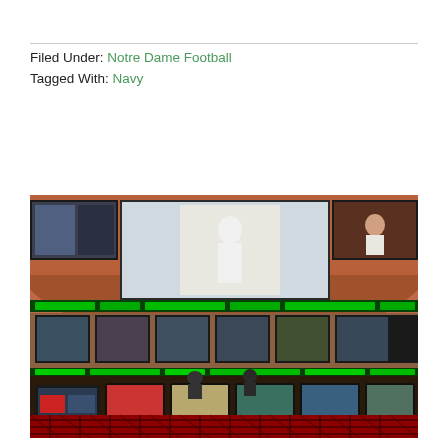Filed Under: Notre Dame Football
Tagged With: Navy
[Figure (photo): Interior of a large sports book venue with curved rows of betting terminals, large LED video screens covering the walls and ceiling showing sports broadcasts, and a patterned red carpet floor.]